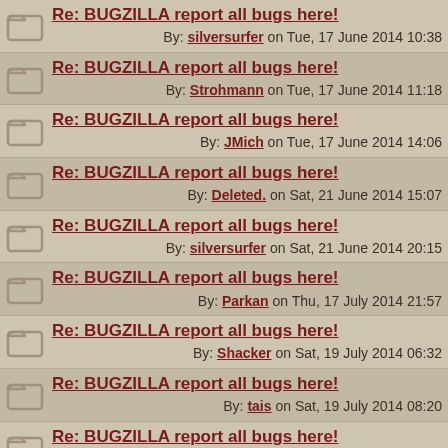Re: BUGZILLA report all bugs here! By: silversurfer on Tue, 17 June 2014 10:38
Re: BUGZILLA report all bugs here! By: Strohmann on Tue, 17 June 2014 11:18
Re: BUGZILLA report all bugs here! By: JMich on Tue, 17 June 2014 14:06
Re: BUGZILLA report all bugs here! By: Deleted. on Sat, 21 June 2014 15:07
Re: BUGZILLA report all bugs here! By: silversurfer on Sat, 21 June 2014 20:15
Re: BUGZILLA report all bugs here! By: Parkan on Thu, 17 July 2014 21:57
Re: BUGZILLA report all bugs here! By: Shacker on Sat, 19 July 2014 06:32
Re: BUGZILLA report all bugs here! By: tais on Sat, 19 July 2014 08:20
Re: BUGZILLA report all bugs here! By: Deleted. on Sun, 20 July 2014 10:57